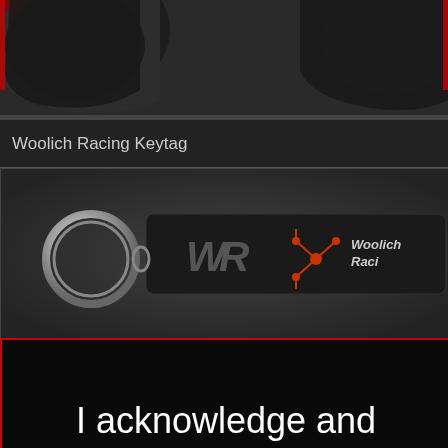[Figure (photo): Partial view of red and black racing gloves on dark background]
Woolich Racing Keytag
[Figure (photo): Woolich Racing keytag - black fabric tag with metal ring, showing WR logo and Woolich Racing text in red and white]
I acknowledge and